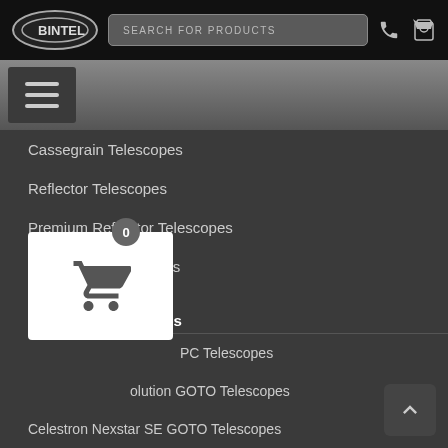BINTEL | SEARCH FOR PRODUCTS
[Figure (screenshot): Navigation menu of BINTEL website showing telescope categories]
Cassegrain Telescopes
Reflector Telescopes
Premium Refractor Telescopes
Astrograph Telescopes
Solar Telescopes
TeleVue Telescopes
Celestron Telescopes
PC Telescopes
olution GOTO Telescopes
Celestron Nexstar SE GOTO Telescopes